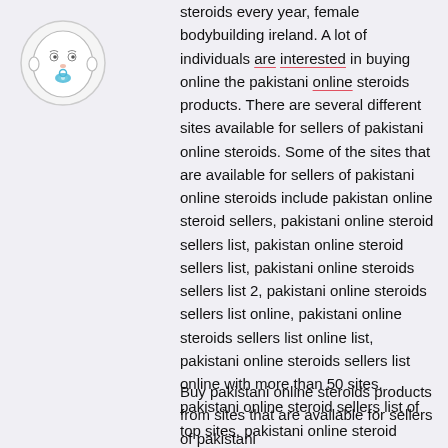[Figure (illustration): Cartoon baby face avatar with blue pacifier, round head outline, simple facial features on light background circle]
steroids every year, female bodybuilding ireland. A lot of individuals are interested in buying online the pakistani online steroids products. There are several different sites available for sellers of pakistani online steroids. Some of the sites that are available for sellers of pakistani online steroids include pakistan online steroid sellers, pakistani online steroid sellers list, pakistan online steroid sellers list, pakistani online steroids sellers list 2, pakistani online steroids sellers list online, pakistani online steroids sellers list online list, pakistani online steroids sellers list online with more than 50 sites, pakistani online steroid sellers list of top sites, pakistani online steroid sellers list in various countries, female bodybuilding contest 2022.
Buy pakistani online steroids products from sites that are available for sellers of pakistani